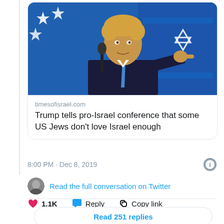[Figure (screenshot): Screenshot of a Twitter/social media post embedding a Times of Israel article with a photo of Donald Trump pointing at a microphone in front of Israeli and American flags]
timesofisrael.com
Trump tells pro-Israel conference that some US Jews don't love Israel enough
8:00 PM · Dec 8, 2019
Read the full conversation on Twitter
1.1K
Reply
Copy link
Read 251 replies